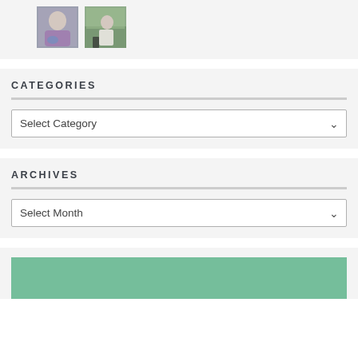[Figure (photo): Two small thumbnail photos of people, placed side by side on a light gray background.]
CATEGORIES
Select Category
ARCHIVES
Select Month
[Figure (illustration): Green/teal colored rectangular banner or header image, partially visible at the bottom of the page.]